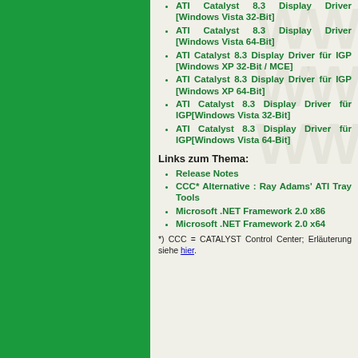ATI Catalyst 8.3 Display Driver [Windows Vista 32-Bit]
ATI Catalyst 8.3 Display Driver [Windows Vista 64-Bit]
ATI Catalyst 8.3 Display Driver für IGP [Windows XP 32-Bit / MCE]
ATI Catalyst 8.3 Display Driver für IGP [Windows XP 64-Bit]
ATI Catalyst 8.3 Display Driver für IGP[Windows Vista 32-Bit]
ATI Catalyst 8.3 Display Driver für IGP[Windows Vista 64-Bit]
Links zum Thema:
Release Notes
CCC* Alternative : Ray Adams' ATI Tray Tools
Microsoft .NET Framework 2.0 x86
Microsoft .NET Framework 2.0 x64
*) CCC = CATALYST Control Center; Erläuterung siehe hier.